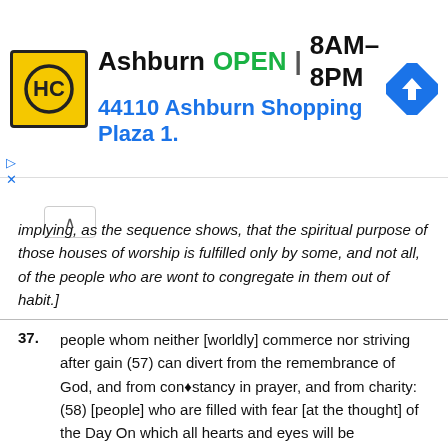[Figure (screenshot): Advertisement banner for HC store in Ashburn, showing logo, OPEN status, hours 8AM-8PM, address 44110 Ashburn Shopping Plaza 1., and navigation icon]
implying, as the sequence shows, that the spiritual purpose of those houses of worship is fulfilled only by some, and not all, of the people who are wont to congregate in them out of habit.]
37. people whom neither [worldly] commerce nor striving after gain (57) can divert from the remembrance of God, and from con�stancy in prayer, and from charity: (58) [people] who are filled with fear [at the thought] of the Day On which all hearts and eyes will be convulsed,
57 - lit., �bargaining� or �selling� or �buying and selling� (bay) - a metonym for anything that might bring worldly gain.]
58 - For this rendering of the term zakah, see surah 2: 43.]